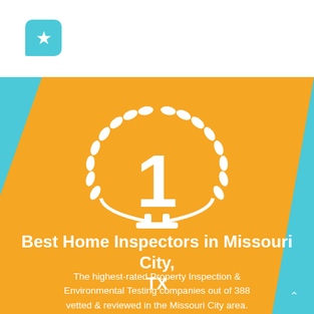[Figure (logo): Teal speech bubble with star icon - company logo]
[Figure (screenshot): Search bar with placeholder text 'Home Inspectors' and a teal magnifying glass icon]
[Figure (illustration): Background graphic with teal and orange diagonal band, featuring a large white number '1' with laurel wreath award icon in white]
Best Home Inspectors in Missouri City, TX
The highest-rated Property Inspection & Environmental Testing companies out of 388 vetted & reviewed in the Missouri City area.